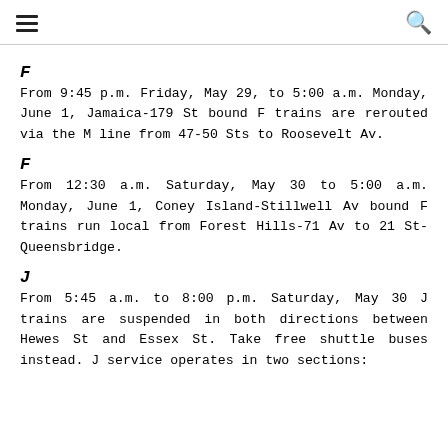≡  🔍
F
From 9:45 p.m. Friday, May 29, to 5:00 a.m. Monday, June 1, Jamaica-179 St bound F trains are rerouted via the M line from 47-50 Sts to Roosevelt Av.
F
From 12:30 a.m. Saturday, May 30 to 5:00 a.m. Monday, June 1, Coney Island-Stillwell Av bound F trains run local from Forest Hills-71 Av to 21 St-Queensbridge.
J
From 5:45 a.m. to 8:00 p.m. Saturday, May 30 J trains are suspended in both directions between Hewes St and Essex St. Take free shuttle buses instead. J service operates in two sections: